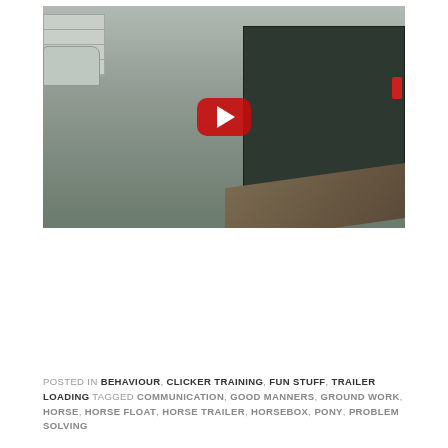[Figure (screenshot): YouTube video thumbnail showing a person leading a horse up the ramp into a dark horsebox/trailer. A car and garage doors are visible in the background. A large red YouTube play button is overlaid in the center.]
POSTED IN BEHAVIOUR, CLICKER TRAINING, FUN STUFF, TRAILER LOADING TAGGED COMMUNICATION, GOOD MANNERS, GROUND WORK, HORSE, HORSE FLOAT, HORSE TRAILER, HORSEBOX, PONY, PROBLEM SOLVING